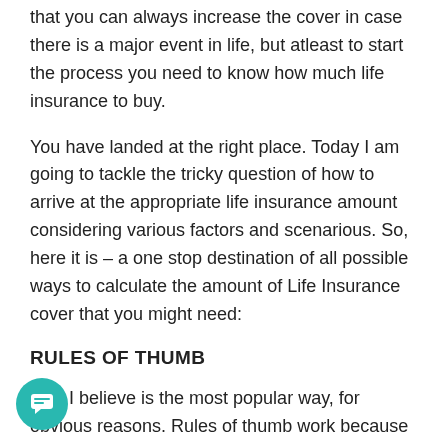that you can always increase the cover in case there is a major event in life, but atleast to start the process you need to know how much life insurance to buy.
You have landed at the right place. Today I am going to tackle the tricky question of how to arrive at the appropriate life insurance amount considering various factors and scenarious. So, here it is – a one stop destination of all possible ways to calculate the amount of Life Insurance cover that you might need:
RULES OF THUMB
This I believe is the most popular way, for obvious reasons. Rules of thumb work because they are easy to calculate and somewhat do the job, even if it might be inaccurate to quite a degree.